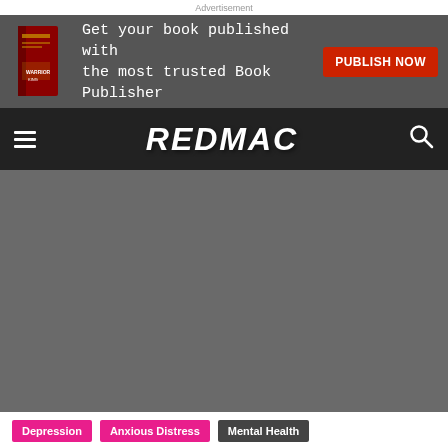Advertisement
[Figure (illustration): Advertisement banner: book image on left, text 'Get your book published with the most trusted Book Publisher', red PUBLISH NOW button on right, dark grey background]
REDMAC (navigation bar with hamburger menu, logo, and search icon)
[Figure (photo): Large dark grey hero image placeholder area]
Depression | Anxious Distress | Mental Health